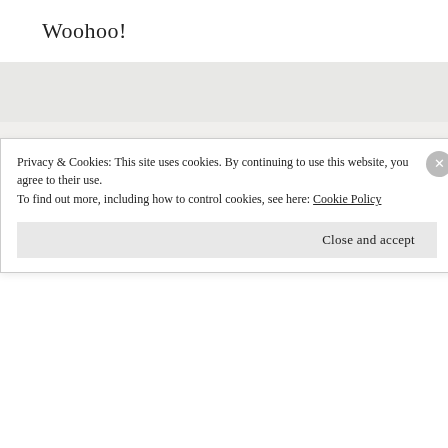Woohoo!
POSTED BY
ZACH SHULMAN
POSTED ON
APRIL 14, 2017
POSTED UNDER
MISCELLANEOUS, PUBLIC SERVICE ANNOUNCEMENTS, STARTUP LIFE
COMMENTS
Privacy & Cookies: This site uses cookies. By continuing to use this website, you agree to their use.
To find out more, including how to control cookies, see here: Cookie Policy